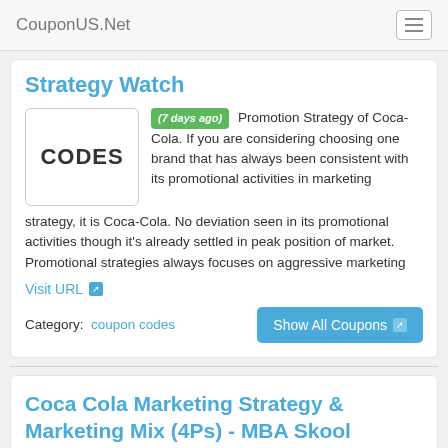CouponUS.Net
Strategy Watch
[Figure (other): Placeholder image showing the word CODES in a rounded rectangle box]
(7 days ago) Promotion Strategy of Coca-Cola. If you are considering choosing one brand that has always been consistent with its promotional activities in marketing strategy, it is Coca-Cola. No deviation seen in its promotional activities though it's already settled in peak position of market. Promotional strategies always focuses on aggressive marketing
Visit URL
Category:  coupon codes
Show All Coupons
Coca Cola Marketing Strategy & Marketing Mix (4Ps) - MBA Skool